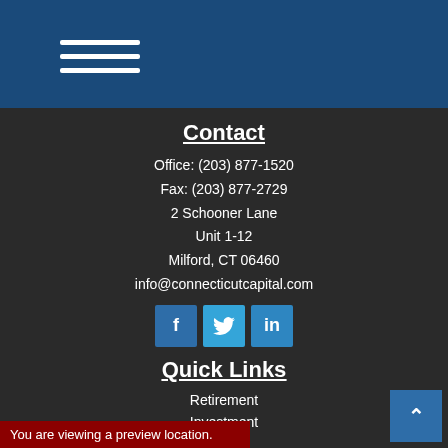Navigation menu (hamburger icon)
Contact
Office: (203) 877-1520
Fax: (203) 877-2729
2 Schooner Lane
Unit 1-12
Milford, CT 06460
info@connecticutcapital.com
[Figure (other): Social media icons: Facebook, Twitter, LinkedIn]
Quick Links
Retirement
Investment
Estate
Insurance
Tax
Money
Lifestyle
All Articles
You are viewing a preview location.